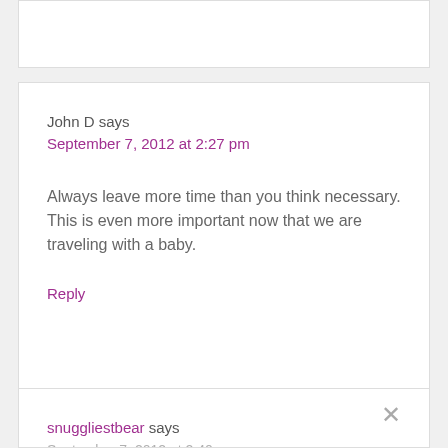John D says
September 7, 2012 at 2:27 pm
Always leave more time than you think necessary. This is even more important now that we are traveling with a baby.
Reply
snuggliestbear says
September 7, 2012 at 2:40 pm